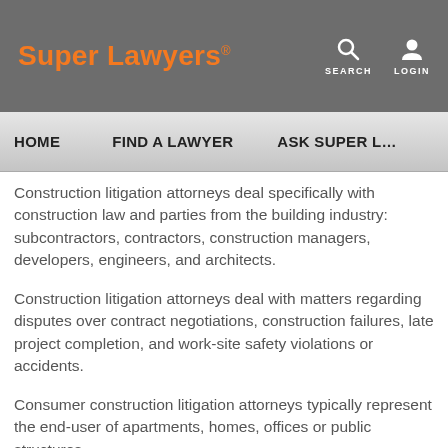Super Lawyers® | SEARCH | LOGIN
HOME   FIND A LAWYER   ASK SUPER L…
Construction litigation attorneys deal specifically with construction law and parties from the building industry: subcontractors, contractors, construction managers, developers, engineers, and architects.
Construction litigation attorneys deal with matters regarding disputes over contract negotiations, construction failures, late project completion, and work-site safety violations or accidents.
Consumer construction litigation attorneys typically represent the end-user of apartments, homes, offices or public structures.
Construction litigation attorneys listed here are recognized